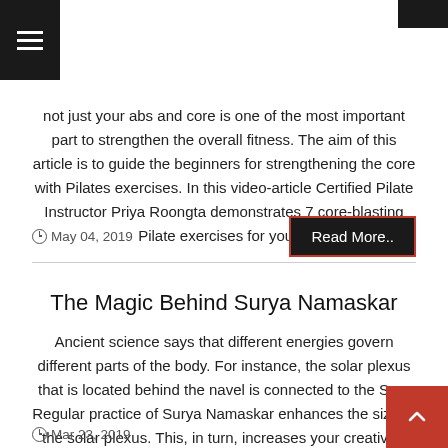Navigation menu icon
not just your abs and core is one of the most important part to strengthen the overall fitness. The aim of this article is to guide the beginners for strengthening the core with Pilates exercises. In this video-article Certified Pilate Instructor Priya Roongta demonstrates 7 core-blasting Pilate exercises for you....
May 04, 2019
Read More..
The Magic Behind Surya Namaskar
Ancient science says that different energies govern different parts of the body. For instance, the solar plexus that is located behind the navel is connected to the Sun. Regular practice of Surya Namaskar enhances the size of the solar plexus. This, in turn, increases your creativity, intuitive abilities, decision making, and confidence. The article reveals mystical and practical facts behind Surya Namaskar....
Mar 23, 2019